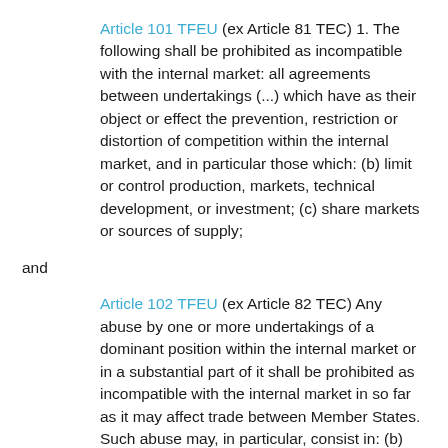Article 101 TFEU (ex Article 81 TEC) 1. The following shall be prohibited as incompatible with the internal market: all agreements between undertakings (...) which have as their object or effect the prevention, restriction or distortion of competition within the internal market, and in particular those which: (b) limit or control production, markets, technical development, or investment; (c) share markets or sources of supply;
and
Article 102 TFEU (ex Article 82 TEC) Any abuse by one or more undertakings of a dominant position within the internal market or in a substantial part of it shall be prohibited as incompatible with the internal market in so far as it may affect trade between Member States. Such abuse may, in particular, consist in: (b) limiting production, markets or technical development to the prejudice of consumers;